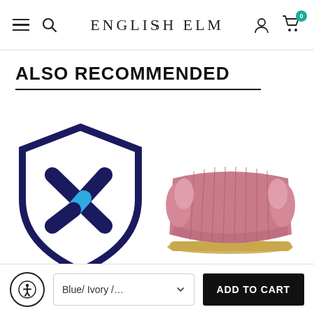English Elm — navigation header with hamburger menu, search, brand name, account icon, and cart (0 items)
ALSO RECOMMENDED
[Figure (logo): Dark navy shield logo with a stylized X mark in navy and a blue chevron/arrow element inside]
[Figure (photo): Pink/dusty rose curved velvet sofa with vertical channel tufting, side bolster pillows, and a gold metallic curved base]
Blue/ Ivory /…
ADD TO CART